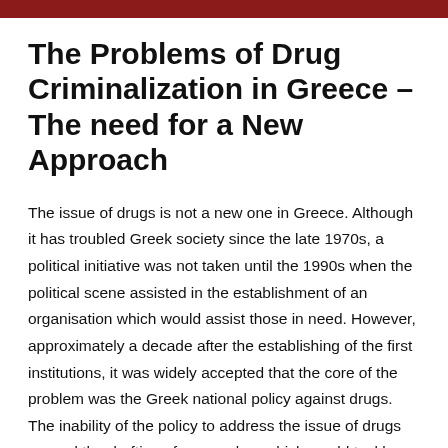The Problems of Drug Criminalization in Greece – The need for a New Approach
The issue of drugs is not a new one in Greece. Although it has troubled Greek society since the late 1970s, a political initiative was not taken until the 1990s when the political scene assisted in the establishment of an organisation which would assist those in need. However, approximately a decade after the establishing of the first institutions, it was widely accepted that the core of the problem was the Greek national policy against drugs. The inability of the policy to address the issue of drugs caused the drafting of a new plan, which would tackle the issue appropriately. The new strategy would decriminalise drugs and increase